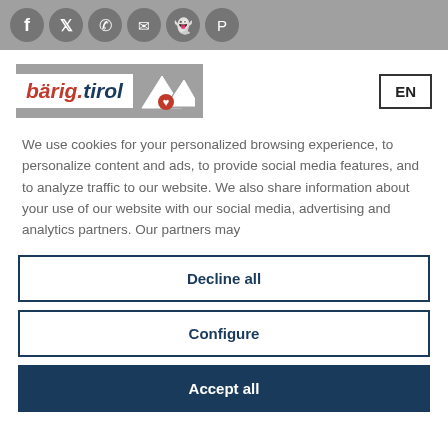[Figure (illustration): Social media icon bar with icons for Facebook, Twitter, WhatsApp, Email, Snapchat, and Pinterest on a grey background]
[Figure (logo): bärig.tirol logo with mountain and heart graphic, and EN language button]
We use cookies for your personalized browsing experience, to personalize content and ads, to provide social media features, and to analyze traffic to our website. We also share information about your use of our website with our social media, advertising and analytics partners. Our partners may
Decline all
Configure
Accept all